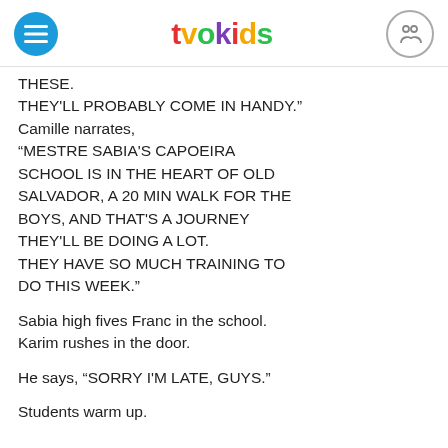tvokids
THESE.
THEY'LL PROBABLY COME IN HANDY."
Camille narrates,
“MESTRE SABIA'S CAPOEIRA SCHOOL IS IN THE HEART OF OLD SALVADOR, A 20 MIN WALK FOR THE BOYS, AND THAT'S A JOURNEY THEY'LL BE DOING A LOT. THEY HAVE SO MUCH TRAINING TO DO THIS WEEK.”
Sabia high fives Franc in the school.
Karim rushes in the door.
He says, “SORRY I'M LATE, GUYS.”
Students warm up.